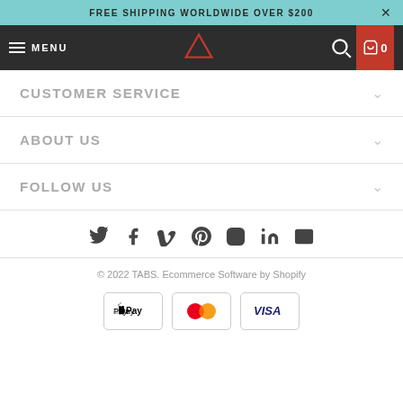FREE SHIPPING WORLDWIDE OVER $200
[Figure (screenshot): Navigation bar with hamburger menu labeled MENU, center triangle logo, search icon, and shopping bag with 0 count on red background]
CUSTOMER SERVICE
ABOUT US
FOLLOW US
[Figure (infographic): Social media icons row: Twitter, Facebook, Vimeo, Pinterest, Instagram, LinkedIn, Email]
© 2022 TABS. Ecommerce Software by Shopify
[Figure (infographic): Payment method icons: Apple Pay, Mastercard, Visa]